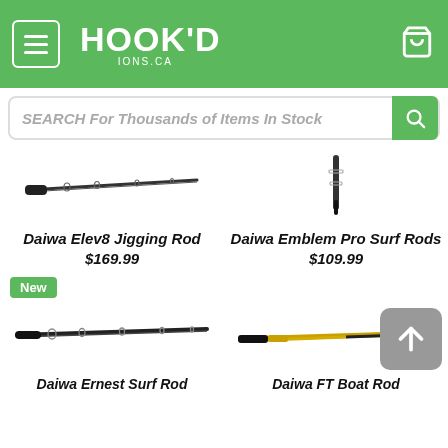HOOK'D IONS.CA — navigation header with menu, logo, cart
SEARCH For Thousands of Items In Stock
[Figure (photo): Daiwa Elev8 Jigging Rod product image]
Daiwa Elev8 Jigging Rod
$169.99
[Figure (photo): Daiwa Emblem Pro Surf Rods product image]
Daiwa Emblem Pro Surf Rods
$109.99
New
[Figure (photo): Daiwa Ernest Surf Rod product image — long dark fishing rod]
Daiwa Ernest Surf Rod
[Figure (photo): Daiwa FT Boat Rod product image — two-tone gold and black rod]
Daiwa FT Boat Rod